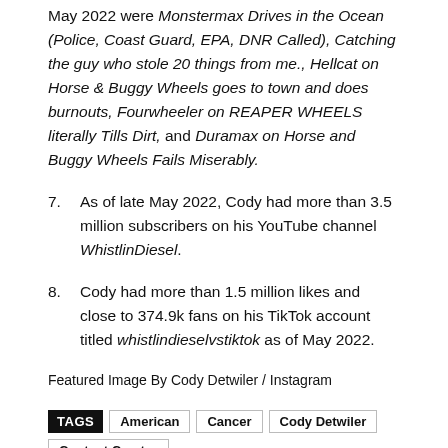May 2022 were Monstermax Drives in the Ocean (Police, Coast Guard, EPA, DNR Called), Catching the guy who stole 20 things from me., Hellcat on Horse & Buggy Wheels goes to town and does burnouts, Fourwheeler on REAPER WHEELS literally Tills Dirt, and Duramax on Horse and Buggy Wheels Fails Miserably.
7. As of late May 2022, Cody had more than 3.5 million subscribers on his YouTube channel WhistlinDiesel.
8. Cody had more than 1.5 million likes and close to 374.9k fans on his TikTok account titled whistlindieselvstiktok as of May 2022.
Featured Image By Cody Detwiler / Instagram
TAGS  American  Cancer  Cody Detwiler  Content Creator  WhistlinDiesel  YouTuber